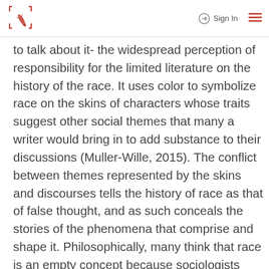Sign In
to talk about it- the widespread perception of responsibility for the limited literature on the history of the race. It uses color to symbolize race on the skins of characters whose traits suggest other social themes that many a writer would bring in to add substance to their discussions (Muller-Wille, 2015). The conflict between themes represented by the skins and discourses tells the history of race as that of false thought, and as such conceals the stories of the phenomena that comprise and shape it. Philosophically, many think that race is an empty concept because sociologists and historians have failed to present its object. Therefore, communicative elements of